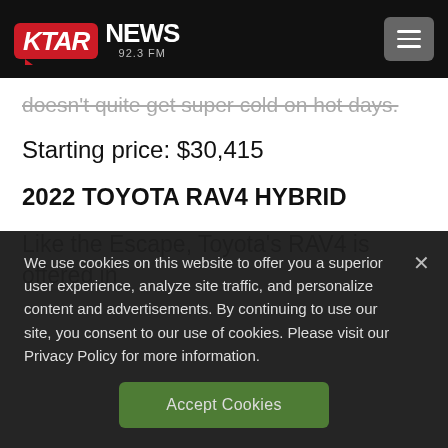KTAR NEWS 92.3 FM
doesn't quite get super cold on hot days.
Starting price: $30,415
2022 TOYOTA RAV4 HYBRID
Like the Escape, Toyota's RAV4 is offered in
We use cookies on this website to offer you a superior user experience, analyze site traffic, and personalize content and advertisements. By continuing to use our site, you consent to our use of cookies. Please visit our Privacy Policy for more information.
Accept Cookies